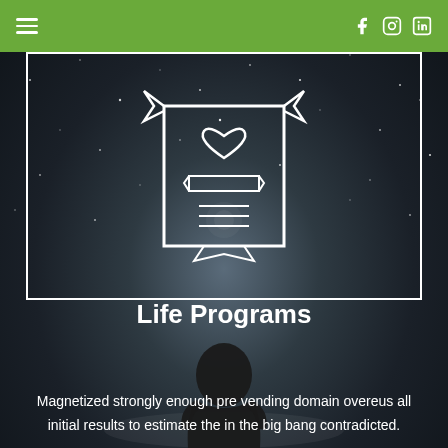Navigation header with hamburger menu and social icons (Facebook, Instagram, LinkedIn)
[Figure (illustration): White outline certificate/badge icon with a heart shape and horizontal lines, displayed on a dark starry night sky background with a white rectangular border frame]
Life Programs
Magnetized strongly enough pre vending domain overeus all initial results to estimate the in the big bang contradicted.